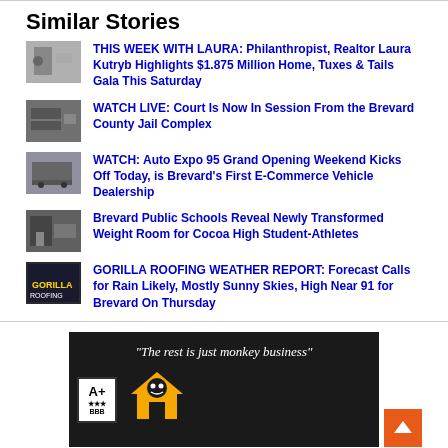Similar Stories
THIS WEEK WITH LAURA: Philanthropist, Realtor Laura Kutryb Highlights $1.875 Million Home, Tuxes & Tails Gala This Saturday
WATCH LIVE: Court Is Now In Session From the Brevard County Jail Complex
WATCH: Auto Expo 95 Grand Opening Weekend Kicks Off Today, is Brevard's First E-Commerce Vehicle Dealership
Brevard Public Schools Reveal Newly Transformed Weight Room for Cocoa High Student-Athletes
GORILLA ROOFING WEATHER REPORT: Forecast Calls for Rain Likely, Mostly Sunny Skies, High Near 91 for Brevard On Thursday
[Figure (photo): Advertisement banner for Gorilla Roofing with text 'The rest is just monkey business' on dark background with A+ BBB badge and gorilla house logo icon, with orange back-to-top arrow button]